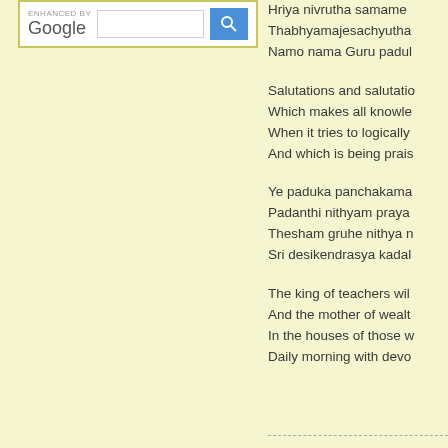[Figure (screenshot): Google search box with 'ENHANCED BY Google' label and a blue search button with magnifying glass icon, inside a yellow-bordered container]
Hriya nivrutha samame
Thabhyamajesachyutha
Namo nama Guru padul
Salutations and salutatio
Which makes all knowle
When it tries to logically
And which is being prais
Ye paduka panchakama
Padanthi nithyam praya
Thesham gruhe nithya n
Sri desikendrasya kadal
The king of teachers wil
And the mother of wealt
In the houses of those w
Daily morning with devo